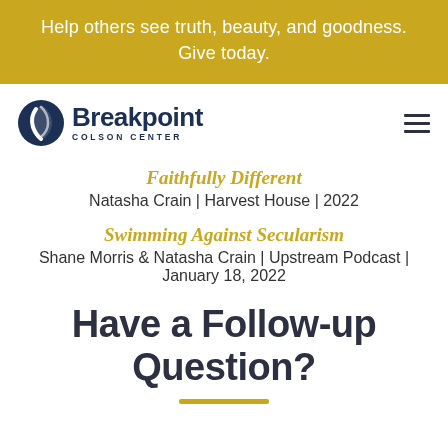Help others see truth, beauty, and goodness. Give today.
[Figure (logo): Breakpoint Colson Center logo with circular icon and text]
Faithfully Different
Natasha Crain | Harvest House | 2022
Swimming Against Secularism
Shane Morris & Natasha Crain | Upstream Podcast | January 18, 2022
Have a Follow-up Question?